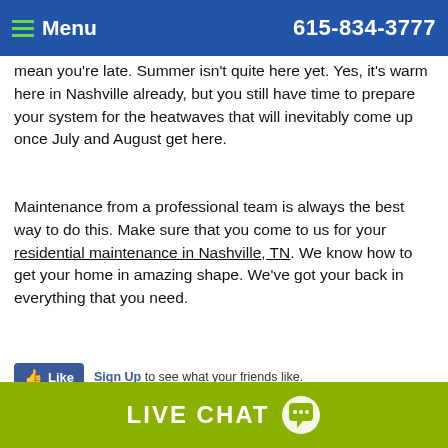Menu | 615-834-3777
mean you’re late. Summer isn’t quite here yet. Yes, it’s warm here in Nashville already, but you still have time to prepare your system for the heatwaves that will inevitably come up once July and August get here.
Maintenance from a professional team is always the best way to do this. Make sure that you come to us for your residential maintenance in Nashville, TN. We know how to get your home in amazing shape. We’ve got your back in everything that you need.
[Figure (screenshot): Facebook Like button widget with Sign Up text]
CONTINUE READING
Tags: AC Problems, Nashville
Posted in Air Conditioning | Comments Off on Nope, t Too Late for Maintenance
LIVE CHAT